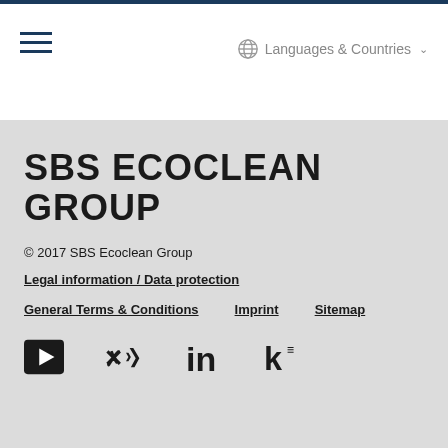Languages & Countries
[Figure (logo): SBS Ecoclean Group logo text in bold uppercase]
© 2017 SBS Ecoclean Group
Legal information / Data protection
General Terms & Conditions   Imprint   Sitemap
[Figure (other): Social media icons: YouTube, Xing, LinkedIn, Kununu]